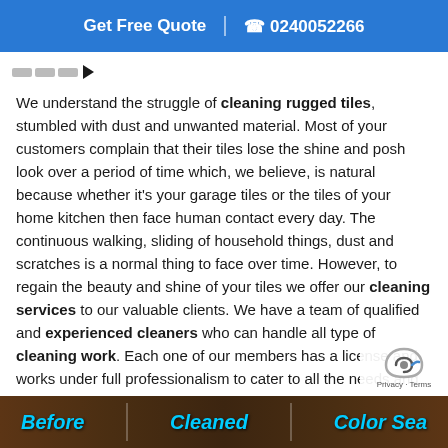Get Free Quote | 0240052266
[Figure (logo): Company logo area with small colored blocks and arrow]
We understand the struggle of cleaning rugged tiles, stumbled with dust and unwanted material. Most of your customers complain that their tiles lose the shine and posh look over a period of time which, we believe, is natural because whether it's your garage tiles or the tiles of your home kitchen then face human contact every day. The continuous walking, sliding of household things, dust and scratches is a normal thing to face over time. However, to regain the beauty and shine of your tiles we offer our cleaning services to our valuable clients. We have a team of qualified and experienced cleaners who can handle all type of cleaning work. Each one of our members has a license and works under full professionalism to cater to all the needs and requirements of the clients. As far the cleaning of grouts is concerned, grouts absorb dust, dirt, limescale and mould over time. To sustain the shine and stability of these, we use eco-friendly technologically advanced processes to clean and polish them. You can find the most reasonable tile and grout cleaning prices wi
[Figure (photo): Before / Cleaned / Color Seal comparison image banner]